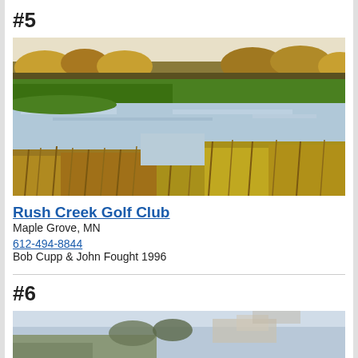#5
[Figure (photo): Aerial/ground view of Rush Creek Golf Club showing a water hazard with wetland grasses in the foreground and green fairways with trees in background during autumn]
Rush Creek Golf Club
Maple Grove, MN
612-494-8844
Bob Cupp & John Fought 1996
#6
[Figure (photo): Partial view of next golf course listing photo, cropped at bottom of page]